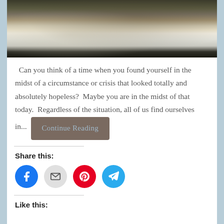[Figure (photo): Close-up photo of a cat's face showing white fur and dark eyes, cropped at the top]
Can you think of a time when you found yourself in the midst of a circumstance or crisis that looked totally and absolutely hopeless? Maybe you are in the midst of that today. Regardless of the situation, all of us find ourselves in.... Continue Reading
Share this:
[Figure (infographic): Social sharing icons: Facebook (blue circle), Email (grey circle with envelope), Pinterest (red circle), Telegram (blue circle)]
Like this: